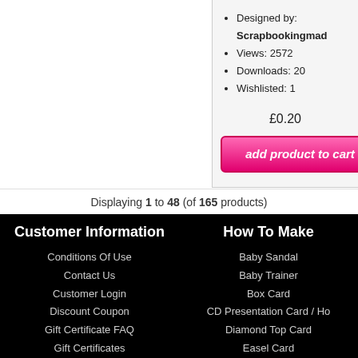Designed by: Scrapbookingmad
Views: 2572
Downloads: 20
Wishlisted: 1
£0.20
add product to cart
Displaying 1 to 48 (of 165 products)
Customer Information
Conditions Of Use
Contact Us
Customer Login
Discount Coupon
Gift Certificate FAQ
Gift Certificates
Help Page
New Customer Sign Up
Privacy Policy
Shipping & Returns
How To Make
Baby Sandal
Baby Trainer
Box Card
CD Presentation Card / Ho
Diamond Top Card
Easel Card
Fold Card Kit
Neverending Card
Push n Pull Card
Shaper Hollow Frames